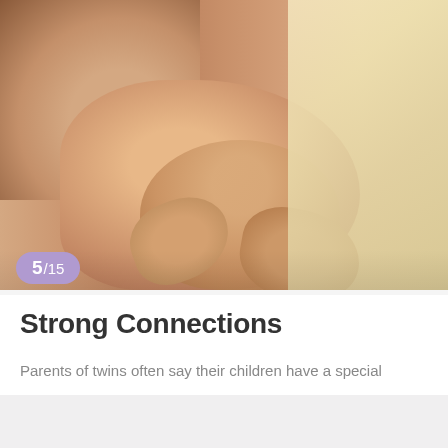[Figure (photo): Close-up photograph of newborn twins lying together, showing skin-to-skin contact with small hands and fingers visible, with a cream/yellow knit blanket on the right side]
5/15
Strong Connections
Parents of twins often say their children have a special